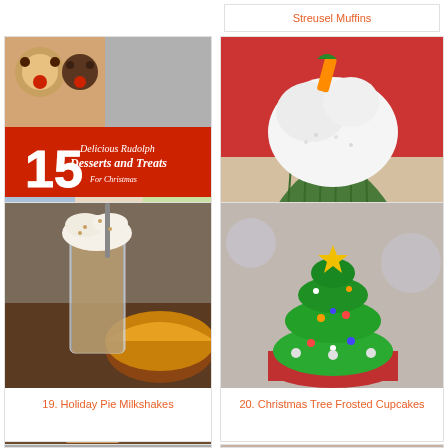Streusel Muffins
[Figure (photo): 15 Delicious Rudolph Desserts and Treats compilation image with reindeer-themed Christmas treats]
17. 15 Delicious Rudolph Christmas Desserts and Treats
[Figure (photo): Carrot cake cupcake with white cinnamon buttercream frosting and candy carrots on top]
18. Carrot Cake Cupcakes with Cinnamon Buttercream Fro
[Figure (photo): Holiday pie milkshake in a tall glass with whipped cream and a straw, beside a pie]
19. Holiday Pie Milkshakes
[Figure (photo): Christmas tree frosted cupcake with green swirled frosting shaped like a tree and yellow star on top]
20. Christmas Tree Frosted Cupcakes
[Figure (photo): Partial bottom image - food item, cropped]
[Figure (photo): Partial bottom image - food item, cropped]